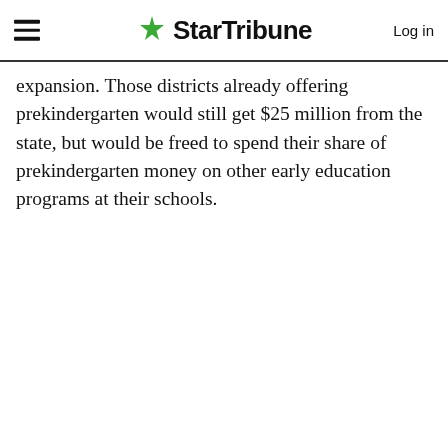StarTribune — Log in
expansion. Those districts already offering prekindergarten would still get $25 million from the state, but would be freed to spend their share of prekindergarten money on other early education programs at their schools.